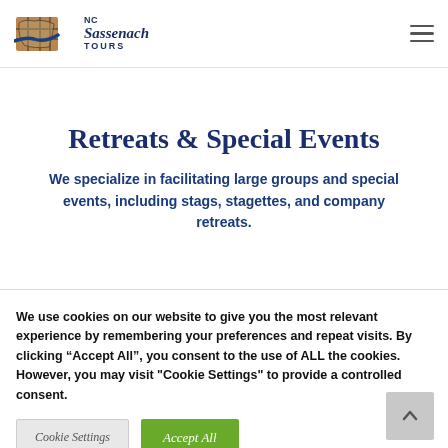NC Sassenach Tours
Retreats & Special Events
We specialize in facilitating large groups and special events, including stags, stagettes, and company retreats.
We use cookies on our website to give you the most relevant experience by remembering your preferences and repeat visits. By clicking “Accept All”, you consent to the use of ALL the cookies. However, you may visit "Cookie Settings" to provide a controlled consent.